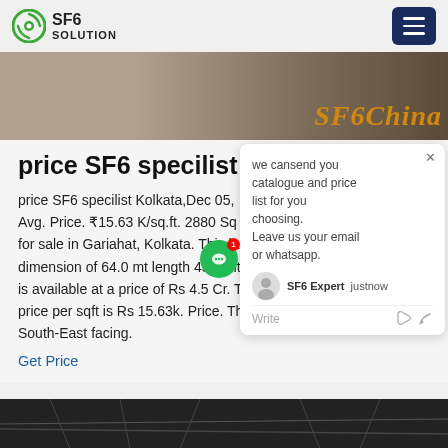SF6 SOLUTION
[Figure (screenshot): Banner image showing gravel/road surface with SF6China text overlay in orange italic]
price SF6 specilist Ko
price SF6 specilist Kolkata,Dec 05, ...ft. Avg. Price. ₹15.63 K/sq.ft. 2880 Sq... for sale in Gariahat, Kolkata. This la... dimension of 64.0 mt length 45.0 mt... Plot is available at a price of Rs 4.5 Cr. The average price per sqft is Rs 15.63k. Price. The plot is South-East facing.
Get Price
[Figure (screenshot): Chat popup overlay with message: we cansend you catalogue and price list for you choosing. Leave us your email or whatsapp. SF6 Expert justnow. Write input area.]
[Figure (screenshot): Bottom thumbnail image showing dark electrical/wire infrastructure]